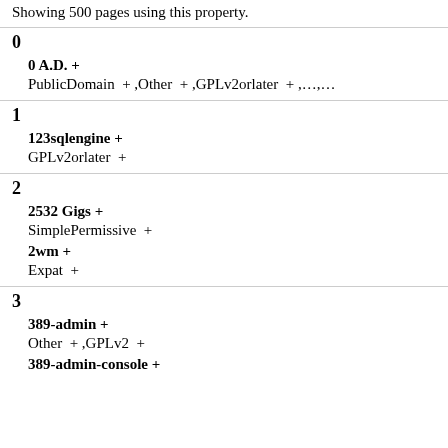Showing 500 pages using this property.
0
0 A.D. +
PublicDomain + ,Other + ,GPLv2orlater + ,…,…
1
123sqlengine +
GPLv2orlater +
2
2532 Gigs +
SimplePermissive +
2wm +
Expat +
3
389-admin +
Other + ,GPLv2 +
389-admin-console +